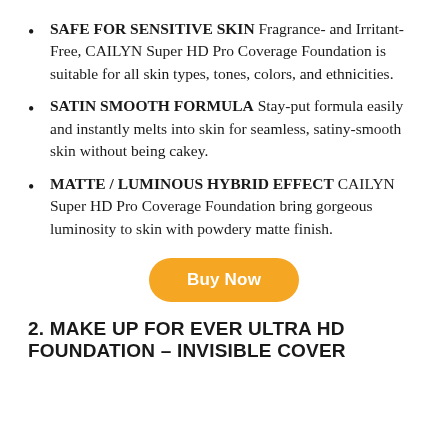SAFE FOR SENSITIVE SKIN Fragrance- and Irritant-Free, CAILYN Super HD Pro Coverage Foundation is suitable for all skin types, tones, colors, and ethnicities.
SATIN SMOOTH FORMULA Stay-put formula easily and instantly melts into skin for seamless, satiny-smooth skin without being cakey.
MATTE / LUMINOUS HYBRID EFFECT CAILYN Super HD Pro Coverage Foundation bring gorgeous luminosity to skin with powdery matte finish.
Buy Now
2. MAKE UP FOR EVER ULTRA HD FOUNDATION – INVISIBLE COVER